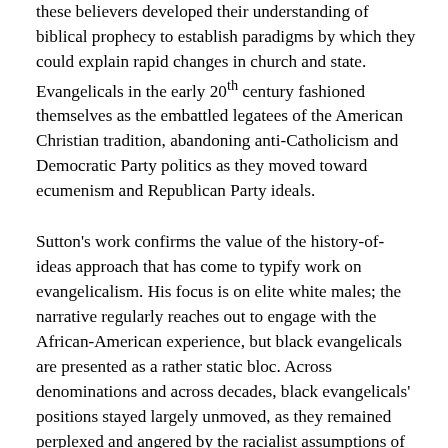these believers developed their understanding of biblical prophecy to establish paradigms by which they could explain rapid changes in church and state. Evangelicals in the early 20th century fashioned themselves as the embattled legatees of the American Christian tradition, abandoning anti-Catholicism and Democratic Party politics as they moved toward ecumenism and Republican Party ideals.
Sutton's work confirms the value of the history-of-ideas approach that has come to typify work on evangelicalism. His focus is on elite white males; the narrative regularly reaches out to engage with the African-American experience, but black evangelicals are presented as a rather static bloc. Across denominations and across decades, black evangelicals' positions stayed largely unmoved, as they remained perplexed and angered by the racialist assumptions of white fundamentalist leaders. Still, Sutton does hint that black evangelicals were gradually developing a more radical reading of their situation. That this new approach was never formalized is perhaps best explained by the sudden racial changes of mid-century